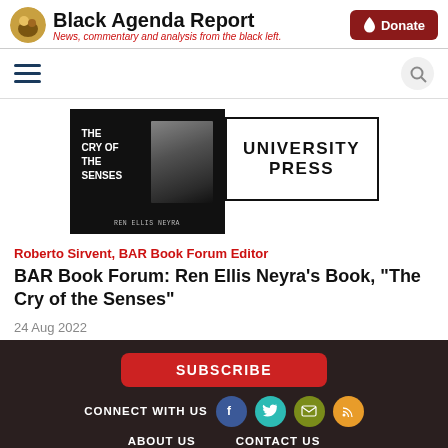Black Agenda Report — News, commentary and analysis from the black left.
[Figure (screenshot): Book cover of 'The Cry of the Senses' with dark background and a University Press logo box to the right]
Roberto Sirvent, BAR Book Forum Editor
BAR Book Forum: Ren Ellis Neyra’s Book, “The Cry of the Senses”
24 Aug 2022
SUBSCRIBE | CONNECT WITH US | ABOUT US | CONTACT US